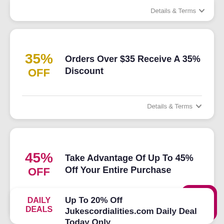Details & Terms
35% OFF
Orders Over $35 Receive A 35% Discount
Details & Terms
45% OFF
Take Advantage Of Up To 45% Off Your Entire Purchase
Details & Terms
DAILY DEALS
Up To 20% Off Jukescordialities.com Daily Deal Today Only